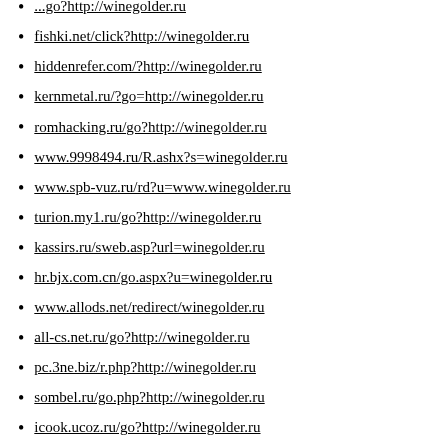[partial] ...go?http://winegolder.ru
fishki.net/click?http://winegolder.ru
hiddenrefer.com/?http://winegolder.ru
kernmetal.ru/?go=http://winegolder.ru
romhacking.ru/go?http://winegolder.ru
www.9998494.ru/R.ashx?s=winegolder.ru
www.spb-vuz.ru/rd?u=www.winegolder.ru
turion.my1.ru/go?http://winegolder.ru
kassirs.ru/sweb.asp?url=winegolder.ru
hr.bjx.com.cn/go.aspx?u=winegolder.ru
www.allods.net/redirect/winegolder.ru
all-cs.net.ru/go?http://winegolder.ru
pc.3ne.biz/r.php?http://winegolder.ru
sombel.ru/go.php?http://winegolder.ru
icook.ucoz.ru/go?http://winegolder.ru
www.sitedossier.com/site/winegolder.ru
news.soso.com/news?query=winegolder.ru
www.orta.de/url?q=http://winegolder.ru
megalodon.jp/?url=http://winegolder.ru
[partial] ...?link=http://winegolder...